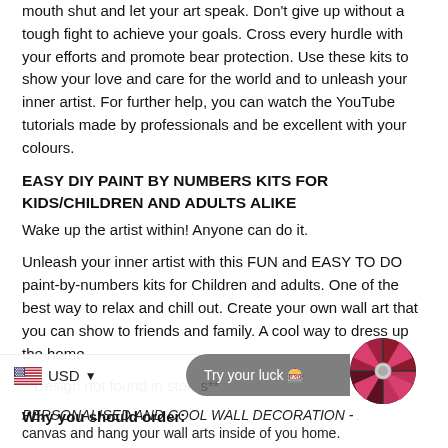mouth shut and let your art speak. Don't give up without a tough fight to achieve your goals. Cross every hurdle with your efforts and promote bear protection. Use these kits to show your love and care for the world and to unleash your inner artist. For further help, you can watch the YouTube tutorials made by professionals and be excellent with your colours.
EASY DIY PAINT BY NUMBERS KITS FOR KIDS/CHILDREN AND ADULTS ALIKE
Wake up the artist within! Anyone can do it.
Unleash your inner artist with this FUN and EASY TO DO paint-by-numbers kits for Children and adults. One of the best way to relax and chill out. Create your own wall art that you can show to friends and family. A cool way to dress up the home.
**Design not found in stores**
Why you should order:
[Figure (other): USD currency selector overlay bar with US flag icon and dropdown arrow]
[Figure (other): Try your luck spinner wheel promotional overlay button]
PERSONALISED AND COOL WALL DECORATION - Pai...
canvas and hang your wall arts inside of you home.